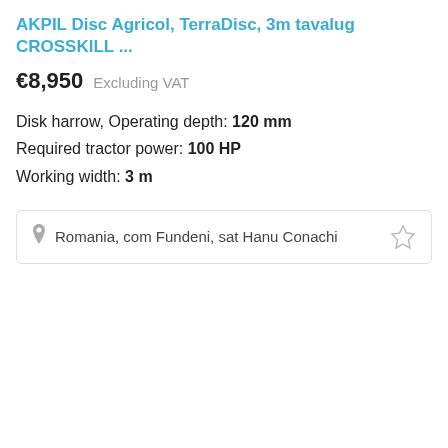AKPIL Disc Agricol, TerraDisc, 3m tavalug CROSSKILL ...
€8,950  Excluding VAT
Disk harrow, Operating depth: 120 mm
Required tractor power: 100 HP
Working width: 3 m
Romania, com Fundeni, sat Hanu Conachi
Agriline affiliate program
Become our affiliate and get a commission from every...
Agriline and partners use cookie and collect data about visits on this website to personalize ads
Details
Accept and close